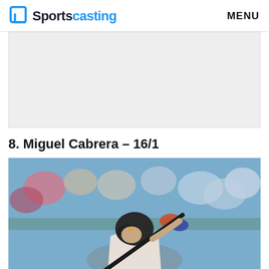Sportscasting  MENU
[Figure (other): Advertisement placeholder – gray rectangle]
8. Miguel Cabrera – 16/1
[Figure (photo): Miguel Cabrera batting, wearing Detroit Tigers uniform, swinging a bat with crowd in background]